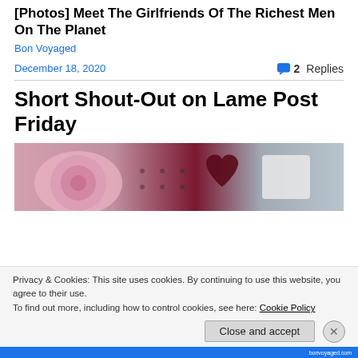[Photos] Meet The Girlfriends Of The Richest Men On The Planet
Bon Voyaged
December 18, 2020
2 Replies
Short Shout-Out on Lame Post Friday
[Figure (photo): Image showing decorative cookies/items including a pink rose-decorated cookie and a dark heart-shaped item against a gray background]
Privacy & Cookies: This site uses cookies. By continuing to use this website, you agree to their use.
To find out more, including how to control cookies, see here: Cookie Policy
Close and accept